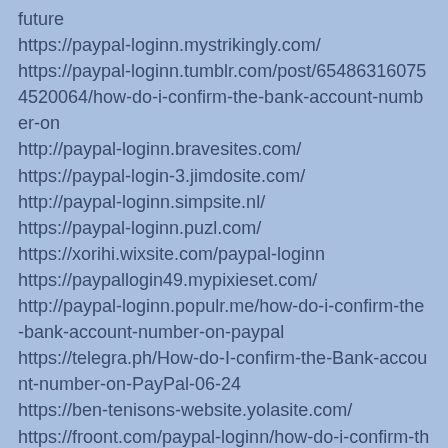future
https://paypal-loginn.mystrikingly.com/
https://paypal-loginn.tumblr.com/post/654863160754520064/how-do-i-confirm-the-bank-account-number-on
http://paypal-loginn.bravesites.com/
https://paypal-login-3.jimdosite.com/
http://paypal-loginn.simpsite.nl/
https://paypal-loginn.puzl.com/
https://xorihi.wixsite.com/paypal-loginn
https://paypallogin49.mypixieset.com/
http://paypal-loginn.populr.me/how-do-i-confirm-the-bank-account-number-on-paypal
https://telegra.ph/How-do-I-confirm-the-Bank-account-number-on-PayPal-06-24
https://ben-tenisons-website.yolasite.com/
https://froont.com/paypal-loginn/how-do-i-confirm-the-bank-account-number-on-paypal
https://paypal-loginsss.blogspot.com/2021/06/how-do-i-confirm-bank-account-number-on_24.html
http://paypal-loginn.moonfruit.com/
https://paypal-loginn.hpage.com/how-do-i-confirm-the-